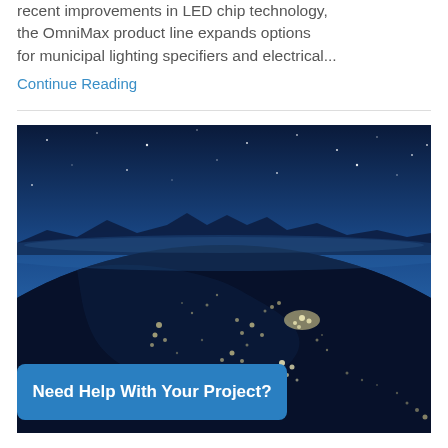recent improvements in LED chip technology, the OmniMax product line expands options for municipal lighting specifiers and electrical...
Continue Reading
[Figure (photo): Satellite night view of Earth showing North America lit up with city lights, with a dark blue starry sky above and mountain silhouettes on the horizon.]
Need Help With Your Project?